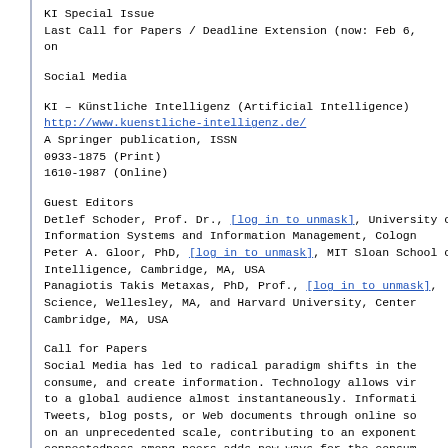KI Special Issue
Last Call for Papers / Deadline Extension (now: Feb 6,
on
Social Media
KI – Künstliche Intelligenz (Artificial Intelligence)
http://www.kuenstliche-intelligenz.de/
A Springer publication, ISSN
0933-1875 (Print)
1610-1987 (Online)
Guest Editors
Detlef Schoder, Prof. Dr., [log in to unmask], University of Information Systems and Information Management, Cologne
Peter A. Gloor, PhD, [log in to unmask], MIT Sloan School of Intelligence, Cambridge, MA, USA
Panagiotis Takis Metaxas, PhD, Prof., [log in to unmask], Science, Wellesley, MA, and Harvard University, Center Cambridge, MA, USA
Call for Papers
Social Media has led to radical paradigm shifts in the consume, and create information. Technology allows virtual to a global audience almost instantaneously. Information Tweets, blog posts, or Web documents through online social on an unprecedented scale, contributing to an exponential connectedness among peers adds new ways for the consumer witnessing new forms of collaboration, including the production intelligence'. This intelligence of crowds can be harvested